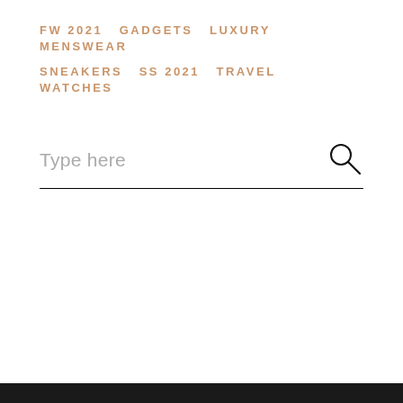FW 2021  GADGETS  LUXURY  MENSWEAR  SNEAKERS  SS 2021  TRAVEL  WATCHES
Type here